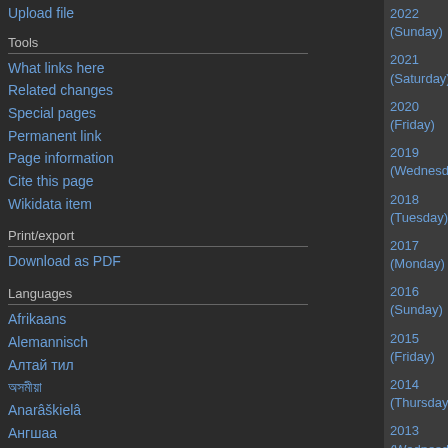Upload file
Tools
What links here
Related changes
Special pages
Permanent link
Page information
Cite this page
Wikidata item
Print/export
Download as PDF
Languages
Afrikaans
Alemannisch
Алтай тил
অসমীয়া
Anarâškielâ
Ангшаа
العربية
Aragonés
Հայերեն
| Year |
| --- |
| 2022 (Sunday) |
| 2021 (Saturday) |
| 2020 (Friday) |
| 2019 (Wednesday) |
| 2018 (Tuesday) |
| 2017 (Monday) |
| 2016 (Sunday) |
| 2015 (Friday) |
| 2014 (Thursday) |
| 2013 (Wednesday) |
Contents [hide]
1  Events
1.1  Pre-1600
1.2  1601–1900
1.3  1901–present
2  Births
2.1  Pre-1600